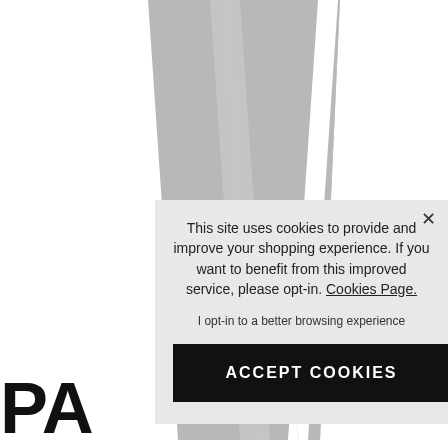[Figure (photo): Gray athletic pants/leggings with white side stripes, shown from waist to ankle. The pants legs are visible against a white background.]
This site uses cookies to provide and improve your shopping experience. If you want to benefit from this improved service, please opt-in. Cookies Page.
I opt-in to a better browsing experience
ACCEPT COOKIES
PA